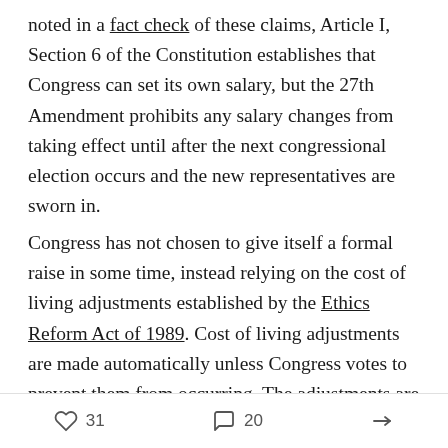noted in a fact check of these claims, Article I, Section 6 of the Constitution establishes that Congress can set its own salary, but the 27th Amendment prohibits any salary changes from taking effect until after the next congressional election occurs and the new representatives are sworn in.
Congress has not chosen to give itself a formal raise in some time, instead relying on the cost of living adjustments established by the Ethics Reform Act of 1989. Cost of living adjustments are made automatically unless Congress votes to prevent them from occurring. The adjustments are based on a formula tying congressional salaries to the private sector, with salary increases capped at "the most recent percentage change
31  20